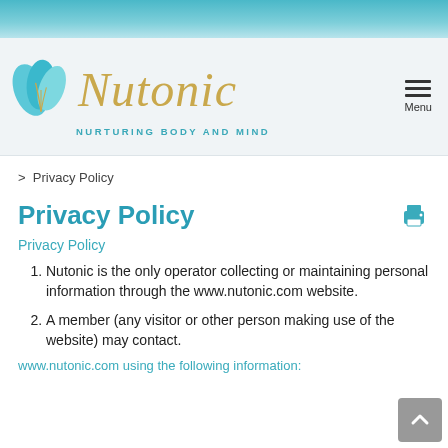[Figure (logo): Nutonic logo with teal leaf graphic, gold italic script 'Nutonic', and tagline 'NURTURING BODY AND MIND']
> Privacy Policy
Privacy Policy
Privacy Policy
Nutonic is the only operator collecting or maintaining personal information through the www.nutonic.com website.
A member (any visitor or other person making use of the website) may contact.
www.nutonic.com using the following information: